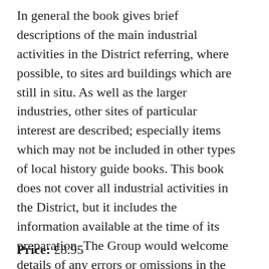In general the book gives brief descriptions of the main industrial activities in the District referring, where possible, to sites ard buildings which are still in situ. As well as the larger industries, other sites of particular interest are described; especially items which may not be included in other types of local history guide books. This book does not cover all industrial activities in the District, but it includes the information available at the time of its preparation. The Group would welcome details of any errors or omissions in the Guide so that our records, and those of others to whom we suply information, can be as accurate and comprehensive as possible.
Price: £8.95